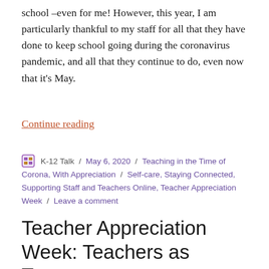school –even for me! However, this year, I am particularly thankful to my staff for all that they have done to keep school going during the coronavirus pandemic, and all that they continue to do, even now that it’s May.
Continue reading
K-12 Talk / May 6, 2020 / Teaching in the Time of Corona, With Appreciation / Self-care, Staying Connected, Supporting Staff and Teachers Online, Teacher Appreciation Week / Leave a comment
Teacher Appreciation Week: Teachers as Treasure